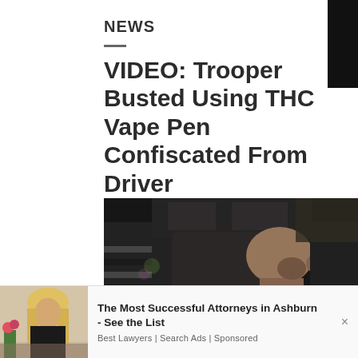NEWS
VIDEO: Trooper Busted Using THC Vape Pen Confiscated From Driver
[Figure (photo): Dashcam or interior car camera footage showing a bald man in a uniform (trooper) sitting in the driver's seat of a vehicle, viewed from behind/side, appearing to use something. Another person is partially visible in the foreground.]
The Most Successful Attorneys in Ashburn - See the List
Best Lawyers | Search Ads | Sponsored